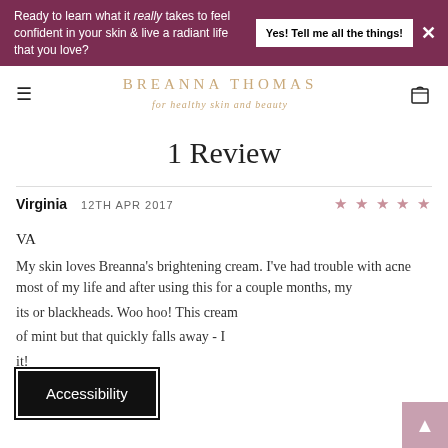Ready to learn what it really takes to feel confident in your skin & live a radiant life that you love? Yes! Tell me all the things!
BREANNA THOMAS for healthy skin and beauty
1 Review
Virginia  12TH APR 2017  ★★★★★
VA
My skin loves Breanna's brightening cream. I've had trouble with acne most of my life and after using this for a couple months, my [skin has no] its or blackheads. Woo hoo! This cream [smells] of mint but that quickly falls away - [love] it!